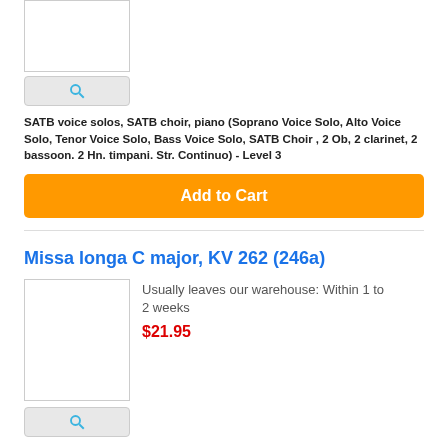[Figure (other): Product image placeholder (white rectangle with border)]
[Figure (other): Search/magnify button]
SATB voice solos, SATB choir, piano (Soprano Voice Solo, Alto Voice Solo, Tenor Voice Solo, Bass Voice Solo, SATB Choir , 2 Ob, 2 clarinet, 2 bassoon. 2 Hn. timpani. Str. Continuo) - Level 3
Add to Cart
Missa longa C major, KV 262 (246a)
[Figure (other): Product image placeholder (white rectangle with border)]
Usually leaves our warehouse: Within 1 to 2 weeks
$21.95
[Figure (other): Search/magnify button]
SATB voice solos, SATB choir, piano (Soprano Voice Solo, Alto Voice Solo, Tenor Voice Solo, Bass Voice Solo, SATB Choir , 2 Ob, 2 Hn, 2 Trp,